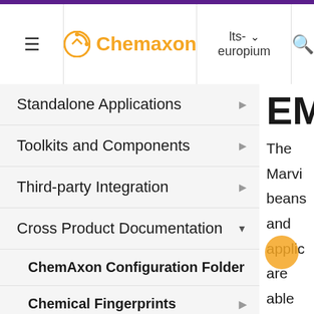Chemaxon | lts-europium
Standalone Applications
Toolkits and Components
Third-party Integration
Cross Product Documentation
ChemAxon Configuration Folder
Chemical Fingerprints
Chemical Terms
File Formats
Basic export options
EM
The Marvin beans and applic are able to export